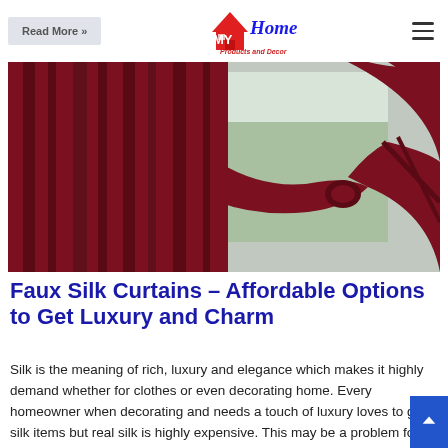Read More » | MY Home Products and Decor logo | hamburger menu
[Figure (photo): Dark red/maroon faux silk curtains hanging on a window with a tieback, window light visible behind]
Faux Silk Curtains – Affordable Options to Get Luxury and Charm
Silk is the meaning of rich, luxury and elegance which makes it highly demand whether for clothes or even decorating home. Every homeowner when decorating and needs a touch of luxury loves to get silk items but real silk is highly expensive. This may be a problem for many who are in tight budgets, but now, designers take in their